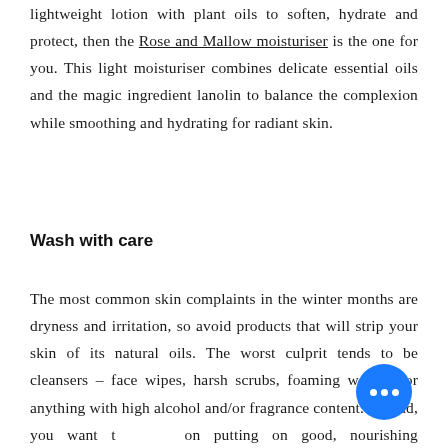lightweight lotion with plant oils to soften, hydrate and protect, then the Rose and Mallow moisturiser is the one for you. This light moisturiser combines delicate essential oils and the magic ingredient lanolin to balance the complexion while smoothing and hydrating for radiant skin.
Wash with care
The most common skin complaints in the winter months are dryness and irritation, so avoid products that will strip your skin of its natural oils. The worst culprit tends to be cleansers – face wipes, harsh scrubs, foaming washes, or anything with high alcohol and/or fragrance content. Instead, you want to focus on putting on good, nourishing ingredients, not taking away the natural moisture.